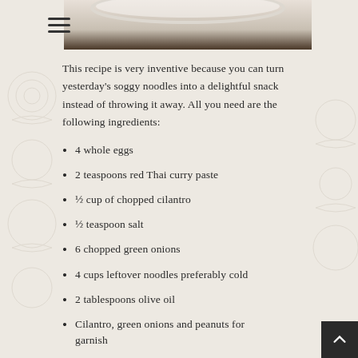[Figure (photo): Top portion of a bowl with noodles, light colored background, partially visible at top of page]
This recipe is very inventive because you can turn yesterday's soggy noodles into a delightful snack instead of throwing it away. All you need are the following ingredients:
4 whole eggs
2 teaspoons red Thai curry paste
½ cup of chopped cilantro
½ teaspoon salt
6 chopped green onions
4 cups leftover noodles preferably cold
2 tablespoons olive oil
Cilantro, green onions and peanuts for garnish